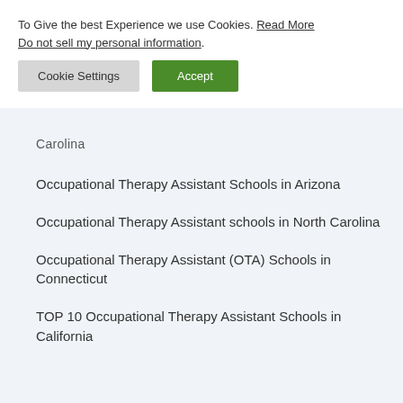To Give the best Experience we use Cookies. Read More Do not sell my personal information.
Cookie Settings | Accept
Carolina
Occupational Therapy Assistant Schools in Arizona
Occupational Therapy Assistant schools in North Carolina
Occupational Therapy Assistant (OTA) Schools in Connecticut
TOP 10 Occupational Therapy Assistant Schools in California